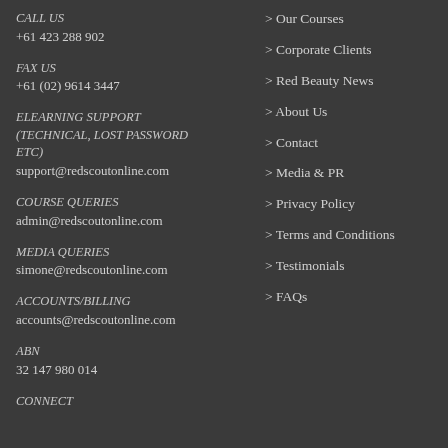CALL US
+61 423 288 902
FAX US
+61 (02) 9614 3447
ELEARNING SUPPORT (TECHNICAL, LOST PASSWORD ETC)
support@redscoutonline.com
COURSE QUERIES
admin@redscoutonline.com
MEDIA QUERIES
simone@redscoutonline.com
ACCOUNTS/BILLING
accounts@redscoutonline.com
ABN
32 147 980 014
CONNECT
Our Courses
Corporate Clients
Red Beauty News
About Us
Contact
Media & PR
Privacy Policy
Terms and Conditions
Testimonials
FAQs